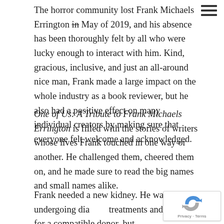The horror community lost Frank Michaels Errington in May of 2019, and his absence has been thoroughly felt by all who were lucky enough to interact with him. Kind, gracious, inclusive, and just an all-around nice man, Frank made a large impact on the whole industry as a book reviewer, but he also had a positive effect on many individual creators by making sure that everyone felt welcome and acknowledged.
One of Us: A Tribute to Frank Michaels Errington is filled with the stories of writers whose lives Frank touched in one way or another. He challenged them, cheered them on, and he made sure to read the big names and small names alike.
Frank needed a new kidney. He was undergoing dia treatments and hoping for a compatible donor, but